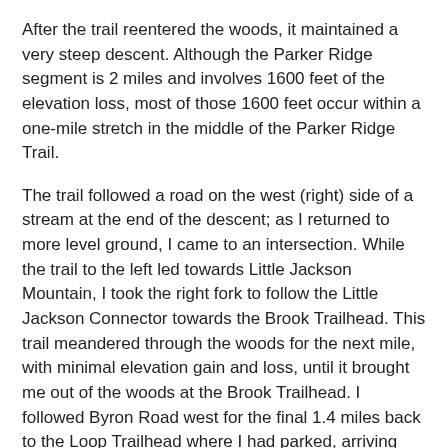After the trail reentered the woods, it maintained a very steep descent. Although the Parker Ridge segment is 2 miles and involves 1600 feet of the elevation loss, most of those 1600 feet occur within a one-mile stretch in the middle of the Parker Ridge Trail.
The trail followed a road on the west (right) side of a stream at the end of the descent; as I returned to more level ground, I came to an intersection. While the trail to the left led towards Little Jackson Mountain, I took the right fork to follow the Little Jackson Connector towards the Brook Trailhead. This trail meandered through the woods for the next mile, with minimal elevation gain and loss, until it brought me out of the woods at the Brook Trailhead. I followed Byron Road west for the final 1.4 miles back to the Loop Trailhead where I had parked, arriving just as dusk set.
This is a beautiful, challenging, and rewarding hike in the Maine Appalachians that delivers a fun scramble, sweeping views, and a beautiful pond without crowds; it was a highlight of my time in Maine and I highly recommend it to both visiting and local hikers.